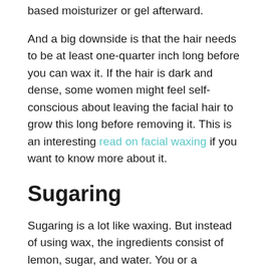based moisturizer or gel afterward.
And a big downside is that the hair needs to be at least one-quarter inch long before you can wax it. If the hair is dark and dense, some women might feel self-conscious about leaving the facial hair to grow this long before removing it. This is an interesting read on facial waxing if you want to know more about it.
Sugaring
Sugaring is a lot like waxing. But instead of using wax, the ingredients consist of lemon, sugar, and water. You or a professional applies and removes the sugar solution exactly as you would when getting rid of facial hair via waxing.